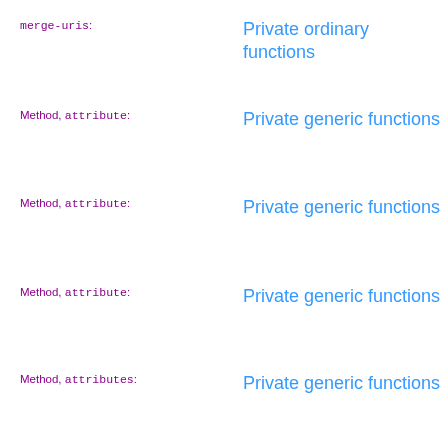merge-uris: Private ordinary functions
Method, attribute: Private generic functions
Method, attribute: Private generic functions
Method, attribute: Private generic functions
Method, attributes: Private generic functions
Method, blank-node-id: Public generic functions
Method, (partial): Private